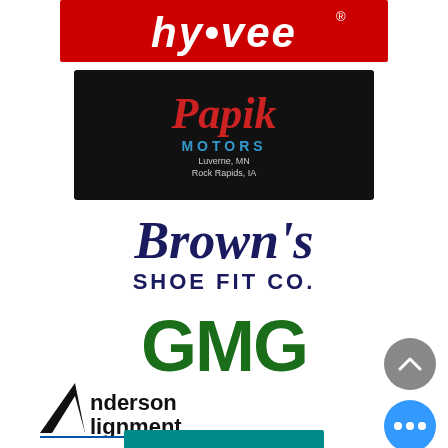[Figure (logo): HyVee grocery store logo — white italic text on red background with registered trademark symbol]
[Figure (logo): Papik Motors logo — red script 'Papik' with blue 'MOTORS' text on black background, Luverne MN location]
[Figure (logo): Brown's Shoe Fit Co. logo — dark navy italic script 'Brown's' above bold sans-serif 'SHOE FIT CO.']
[Figure (logo): GMG logo — large bold green letters 'GMG' in chunky font]
[Figure (logo): Anderson Alignment logo — black triangle A with 'nderson Alignment' text and blue underline]
[Figure (logo): Partial teal/turquoise logo at bottom, partially cut off]